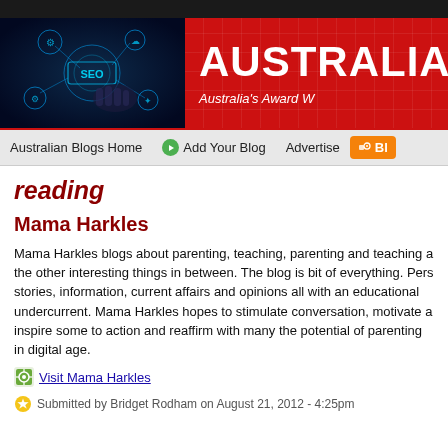[Figure (screenshot): Website header banner with SEO tech image on left and 'AUSTRALIA' text in white on red background with 'Australia's Award W...' subtitle]
Australian Blogs Home | Add Your Blog | Advertise | Bl...
reading
Mama Harkles
Mama Harkles blogs about parenting, teaching, parenting and teaching a... the other interesting things in between. The blog is bit of everything. Pers... stories, information, current affairs and opinions all with an educational undercurrent. Mama Harkles hopes to stimulate conversation, motivate a... inspire some to action and reaffirm with many the potential of parenting in... digital age.
Visit Mama Harkles
Submitted by Bridget Rodham on August 21, 2012 - 4:25pm